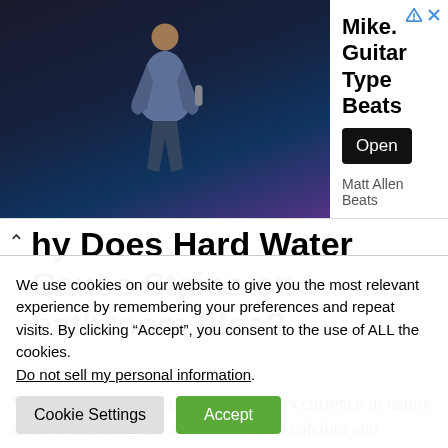[Figure (photo): Advertisement banner with a photo of a musician performing on stage (dark background with spotlight effects), text 'Mike. Guitar Type Beats', subtitle 'Matt Allen Beats', and an 'Open' button. Corner icons include a triangular play/ad icon and an X close button.]
Why Does Hard Water Cause Stains on bathroom tiles?
Water hardness is actually a common occurrence in nature and it's caused by the accumulation of calcium and magnesium,
We use cookies on our website to give you the most relevant experience by remembering your preferences and repeat visits. By clicking “Accept”, you consent to the use of ALL the cookies.
Do not sell my personal information.